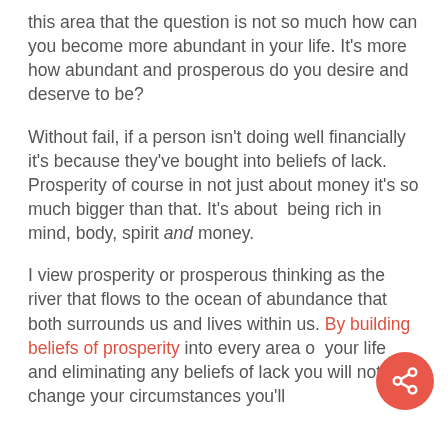this area that the question is not so much how can you become more abundant in your life. It's more how abundant and prosperous do you desire and deserve to be?
Without fail, if a person isn't doing well financially it's because they've bought into beliefs of lack. Prosperity of course in not just about money it's so much bigger than that. It's about  being rich in mind, body, spirit and money.
I view prosperity or prosperous thinking as the river that flows to the ocean of abundance that both surrounds us and lives within us. By building beliefs of prosperity into every area of your life and eliminating any beliefs of lack you will not only change your circumstances you'll